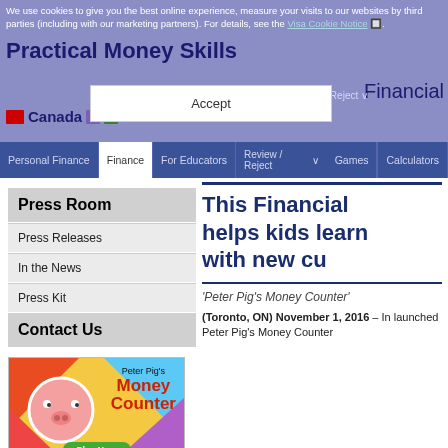We use cookies to give you the best online experience, measure your visits to our websites by third parties (including with our marketing partners). For details, see the Visa Cookie Notice.
Practical Money Skills | Financial
Canada
Personal Finance | For Educators | Games | Calculators
Press Room
Press Releases
In the News
Press Kit
Contact Us
[Figure (illustration): Peter Pig's Money Counter app illustration with pink pig character and colorful background, Play Now button]
NEW Canada's Peter
This Financial helps kids learn with new cu
'Peter Pig's Money Counter'
(Toronto, ON) November 1, 2016 – In launched Peter Pig's Money Counter